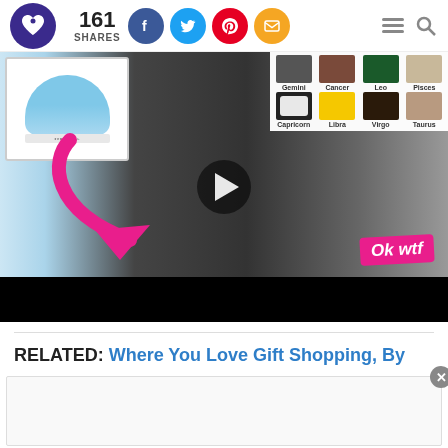161 SHARES
[Figure (screenshot): Video thumbnail showing a woman holding a blue Calvin Klein bralette. Top-left shows product image of blue bra. Top-right shows zodiac sign bra grid (Gemini, Cancer, Leo, Pisces, Capricorn, Libra, Virgo, Taurus). Pink arrow points to the bra. 'Ok wtf' pink sticker in bottom right. Play button in center.]
RELATED: Where You Love Gift Shopping, By
[Figure (screenshot): Advertisement block with close (x) button]